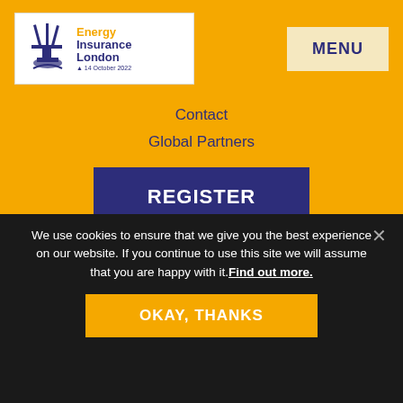[Figure (logo): Energy Insurance London logo with oil rig icon, orange 'Energy' text, dark blue 'Insurance London' text, and '14 October 2022' date, on white background]
MENU
Contact
Global Partners
REGISTER
[Figure (logo): Energy Insurance London logo large version with oil rig icon, orange 'Energy' text, dark blue 'Insurance London' text, and '14 October 2022' date, on white background]
We use cookies to ensure that we give you the best experience on our website. If you continue to use this site we will assume that you are happy with it. Find out more.
OKAY, THANKS